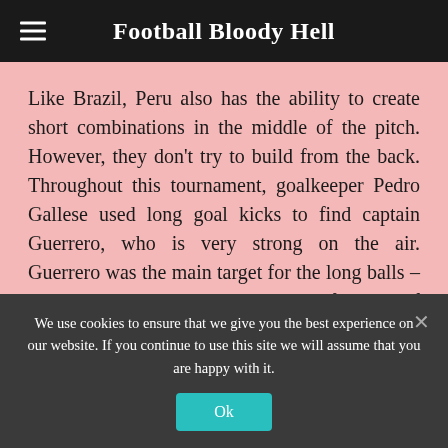Football Bloody Hell
Like Brazil, Peru also has the ability to create short combinations in the middle of the pitch. However, they don't try to build from the back. Throughout this tournament, goalkeeper Pedro Gallese used long goal kicks to find captain Guerrero, who is very strong on the air. Guerrero was the main target for the long balls – he would try to hold up the ball and find one of his onrushing teammates.
However, using this simple idea time and again and Peru started to predictably attack Brazil...
We use cookies to ensure that we give you the best experience on our website. If you continue to use this site we will assume that you are happy with it.